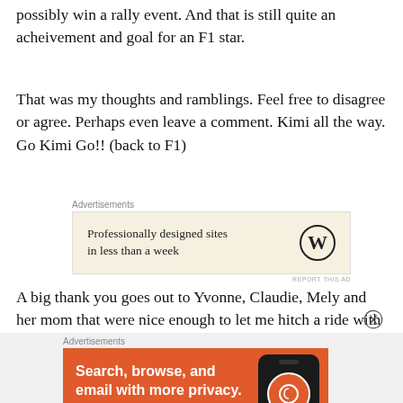possibly win a rally event. And that is still quite an acheivement and goal for an F1 star.
That was my thoughts and ramblings. Feel free to disagree or agree. Perhaps even leave a comment. Kimi all the way. Go Kimi Go!! (back to F1)
[Figure (other): WordPress advertisement: 'Professionally designed sites in less than a week' with WordPress logo on beige background]
A big thank you goes out to Yvonne, Claudie, Mely and her mom that were nice enough to let me hitch a ride with them on Friday. Thanks guys. You are true Kimi fanatics.
[Figure (other): DuckDuckGo advertisement: 'Search, browse, and email with more privacy. All in One Free App' on orange background with phone graphic]